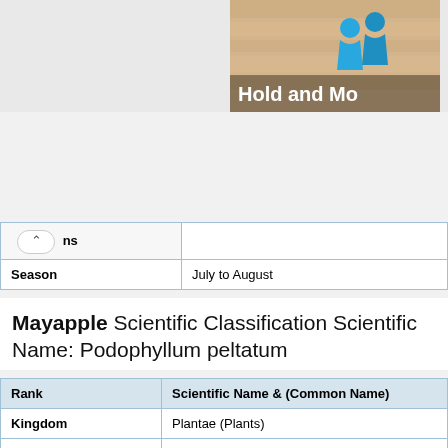[Figure (screenshot): Top banner area with a partial game or app advertisement showing 'Hold and Mo...' text with blue character icons on a sandy/wood-textured background.]
| ns |  |
| Season | July to August |
Mayapple Scientific Classification Scientific Name: Podophyllum peltatum
| Rank | Scientific Name & (Common Name) |
| --- | --- |
| Kingdom | Plantae (Plants) |
| Subkingdom | Tracheobionta (Vascular plants) |
| Infrakingdom | Streptophyta  (land plants) |
| Superdivision | Spermatophyta (Seed plants) |